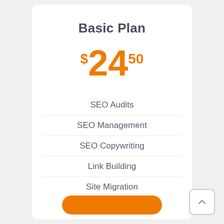Basic Plan
$24.50
SEO Audits
SEO Management
SEO Copywriting
Link Building
Site Migration